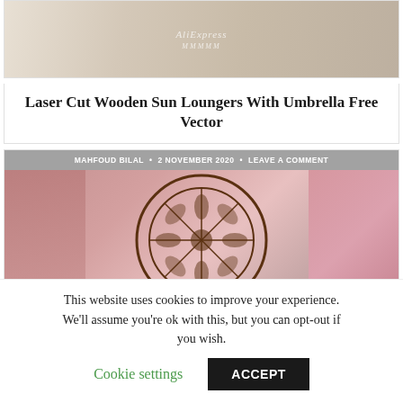[Figure (photo): Laser cut wooden sun loungers with umbrella product photo on wooden background with watermark]
Laser Cut Wooden Sun Loungers With Umbrella Free Vector
[Figure (photo): Laser cut wooden mandala decoration displayed alongside pink crochet rope basket]
MAHFOUD BILAL • 2 NOVEMBER 2020 • LEAVE A COMMENT
This website uses cookies to improve your experience. We'll assume you're ok with this, but you can opt-out if you wish. Cookie settings ACCEPT